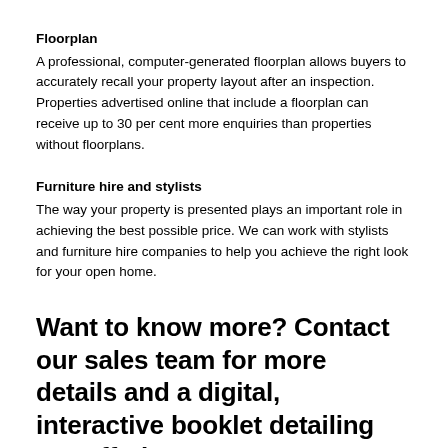Floorplan
A professional, computer-generated floorplan allows buyers to accurately recall your property layout after an inspection. Properties advertised online that include a floorplan can receive up to 30 per cent more enquiries than properties without floorplans.
Furniture hire and stylists
The way your property is presented plays an important role in achieving the best possible price. We can work with stylists and furniture hire companies to help you achieve the right look for your open home.
Want to know more? Contact our sales team for more details and a digital, interactive booklet detailing our offering to you.